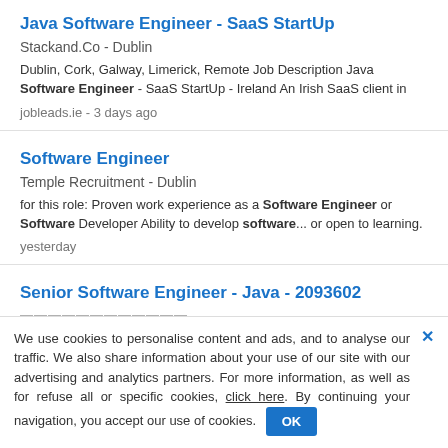Java Software Engineer - SaaS StartUp
Stackand.Co  -  Dublin
Dublin, Cork, Galway, Limerick, Remote Job Description Java Software Engineer - SaaS StartUp - Ireland An Irish SaaS client in
jobleads.ie  -  3 days ago
Software Engineer
Temple Recruitment  -  Dublin
for this role: Proven work experience as a Software Engineer or Software Developer Ability to develop software... or open to learning.
yesterday
Senior Software Engineer - Java - 2093602
(partial company and location, obscured)
We use cookies to personalise content and ads, and to analyse our traffic. We also share information about your use of our site with our advertising and analytics partners. For more information, as well as for refuse all or specific cookies, click here. By continuing your navigation, you accept our use of cookies. OK